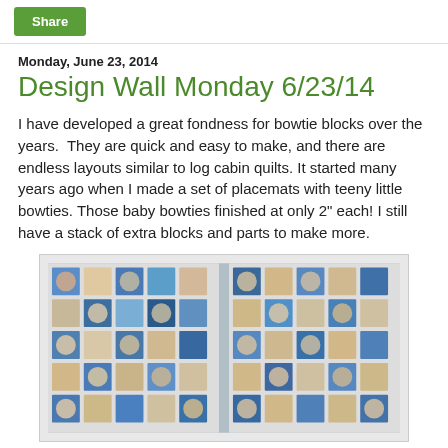Share
Monday, June 23, 2014
Design Wall Monday 6/23/14
I have developed a great fondness for bowtie blocks over the years.  They are quick and easy to make, and there are endless layouts similar to log cabin quilts. It started many years ago when I made a set of placemats with teeny little bowties. Those baby bowties finished at only 2" each! I still have a stack of extra blocks and parts to make more.
[Figure (photo): Two panels of a bowtie quilt laid out on a design wall, with blue and peach/tan colors in a geometric bowtie block pattern.]